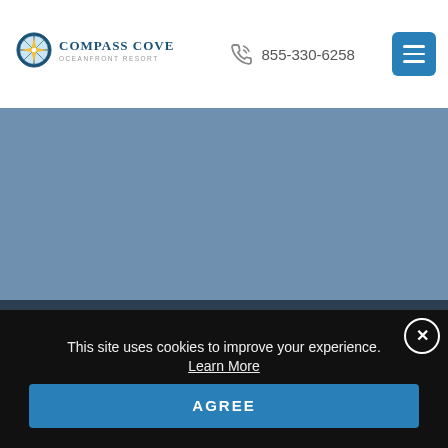Compass Cove Oceanfront Resort — 855-330-6258
[Figure (logo): Compass Cove Oceanfront Resort logo with compass rose icon, dark blue-gray background section]
2311 S. Ocean Blvd
Myrtle Beach, SC 29577
This site uses cookies to improve your experience. Learn More
AGREE